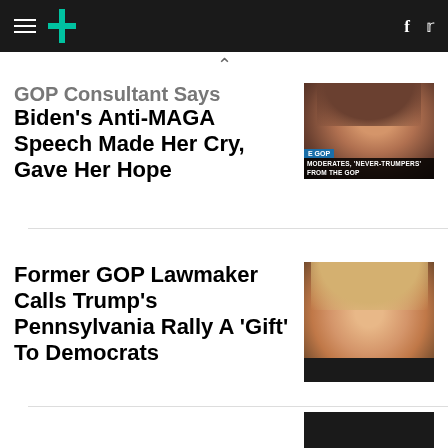HuffPost navigation with hamburger menu, logo, Facebook and Twitter icons
GOP Consultant Says Biden's Anti-MAGA Speech Made Her Cry, Gave Her Hope
[Figure (photo): TV screenshot showing a woman with brown hair on a news segment; chyron reads 'MODERATES, NEVER-TRUMPERS FROM THE GOP']
Former GOP Lawmaker Calls Trump's Pennsylvania Rally A 'Gift' To Democrats
[Figure (photo): Close-up photo of Donald Trump with mouth open, looking downward]